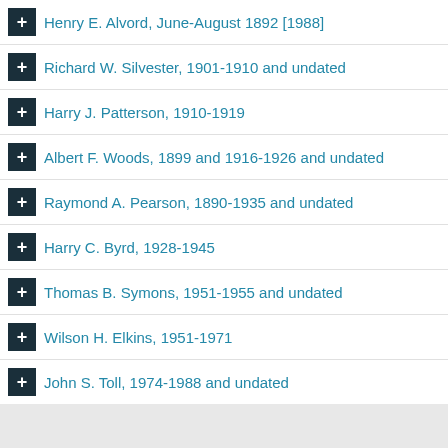Henry E. Alvord, June-August 1892 [1988]
Richard W. Silvester, 1901-1910 and undated
Harry J. Patterson, 1910-1919
Albert F. Woods, 1899 and 1916-1926 and undated
Raymond A. Pearson, 1890-1935 and undated
Harry C. Byrd, 1928-1945
Thomas B. Symons, 1951-1955 and undated
Wilson H. Elkins, 1951-1971
John S. Toll, 1974-1988 and undated